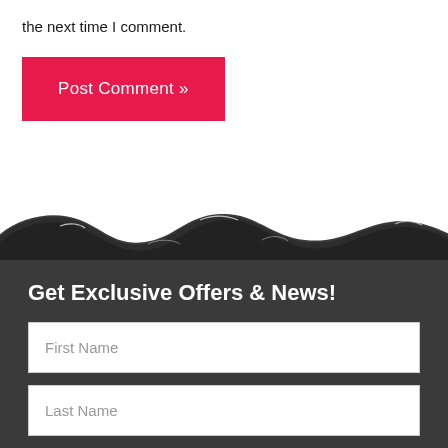the next time I comment.
Post Comment »
[Figure (illustration): Dark wavy water surface graphic dividing white section from dark grey section]
Get Exclusive Offers & News!
First Name
Last Name
Email